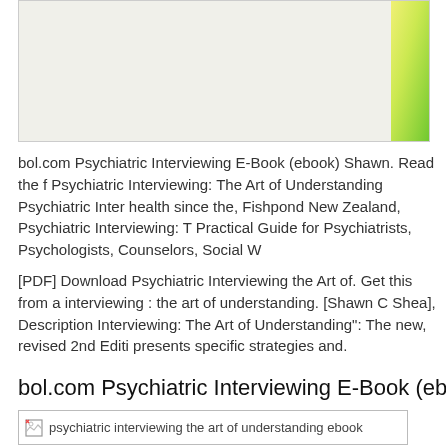[Figure (photo): Top image area showing a partially visible book cover or webpage screenshot with a yellow-green color patch in the top-right corner]
bol.com Psychiatric Interviewing E-Book (ebook) Shawn. Read the f Psychiatric Interviewing: The Art of Understanding Psychiatric Inter health since the, Fishpond New Zealand, Psychiatric Interviewing: T Practical Guide for Psychiatrists, Psychologists, Counselors, Social W
[PDF] Download Psychiatric Interviewing the Art of. Get this from a interviewing : the art of understanding. [Shawn C Shea], Description Interviewing: The Art of Understanding": The new, revised 2nd Editi presents specific strategies and.
bol.com Psychiatric Interviewing E-Book (ebook) Sha
[Figure (photo): Broken image placeholder with alt text: psychiatric interviewing the art of understanding ebook]